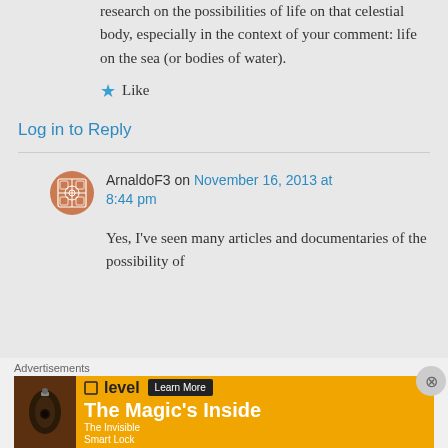research on the possibilities of life on that celestial body, especially in the context of your comment: life on the sea (or bodies of water).
★ Like
Log in to Reply
ArnaldoF3 on November 16, 2013 at 8:44 pm
Yes, I've seen many articles and documentaries of the possibility of
[Figure (other): Advertisement banner: level - The Magic's Inside - The Invisible Smart Lock, with Learn More button]